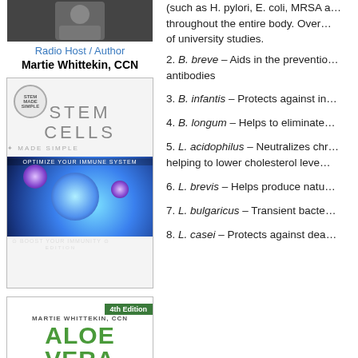[Figure (photo): Photo of Radio Host/Author Martie Whittekin, CCN]
Radio Host / Author
Martie Whittekin, CCN
[Figure (illustration): Book cover: Stem Cells Made Simple - Boost Your Immunity Edition, Optimize Your Immune System]
[Figure (illustration): Book cover: Aloe Vera by Martie Whittekin CCN, 4th Edition]
(such as H. pylori, E. coli, MRSA a… throughout the entire body. Over… of university studies.
2. B. breve – Aids in the preventio… antibodies
3. B. infantis – Protects against in…
4. B. longum – Helps to eliminate…
5. L. acidophilus – Neutralizes chr… helping to lower cholesterol leve…
6. L. brevis – Helps produce natu…
7. L. bulgaricus – Transient bacte…
8. L. casei – Protects against dea…